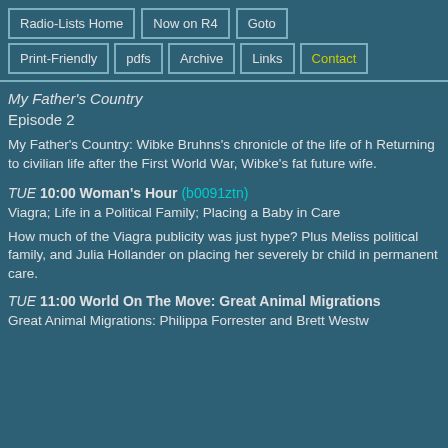Radio-Lists Home | Now on R4 | Goto | Print-Friendly | pdfs | Archive | Links | Contact
My Father's Country
Episode 2
My Father's Country: Wibke Bruhns's chronicle of the life of h... Returning to civilian life after the First World War, Wibke's fat... future wife.
TUE 10:00 Woman's Hour (b0091ztn)
Viagra; Life in a Political Family; Placing a Baby in Care
How much of the Viagra publicity was just hype? Plus Meliss... political family, and Julia Hollander on placing her severely br... child in permanent care.
TUE 11:00 World On The Move: Great Animal Migrations
Great Animal Migrations: Philippa Forrester and Brett Westw...